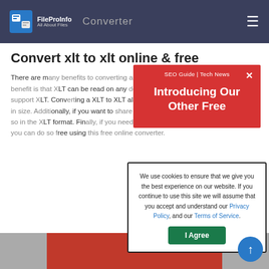FileProInfo | All About Files — XLT to XLT Converter
Convert xlt to xlt online & free
There are many benefits to converting a XLT file to XLT. Perhaps the biggest benefit is that XLT can be read on any device, as it is not limited to devices that support XLT. Converting a XLT to XLT also means that XLT files tend to be smaller in size. Additionally, if you want to share a XLT file, it can be much easier to do so in the XLT format. Finally, if you need to do a quick and easy print of a XLT, you can do so free using this free online converter.
[Figure (infographic): Red promotional banner overlay reading 'SEO Guide | Tech News — Introducing Our Other Free' with a close (X) button]
We use cookies to ensure that we give you the best experience on our website. If you continue to use this site we will assume that you accept and understand our Privacy Policy, and our Terms of Service.
I Agree
[Figure (screenshot): Bottom image strip with gray and red sections]